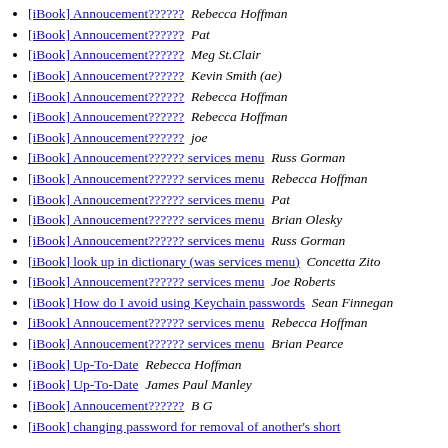[iBook] Annoucement??????  Rebecca Hoffman
[iBook] Annoucement??????  Pat
[iBook] Annoucement??????  Meg St.Clair
[iBook] Annoucement??????  Kevin Smith (ae)
[iBook] Annoucement??????  Rebecca Hoffman
[iBook] Annoucement??????  Rebecca Hoffman
[iBook] Annoucement??????  joe
[iBook] Annoucement?????? services menu  Russ Gorman
[iBook] Annoucement?????? services menu  Rebecca Hoffman
[iBook] Annoucement?????? services menu  Pat
[iBook] Annoucement?????? services menu  Brian Olesky
[iBook] Annoucement?????? services menu  Russ Gorman
[iBook] look up in dictionary (was services menu)  Concetta Zito
[iBook] Annoucement?????? services menu  Joe Roberts
[iBook] How do I avoid using Keychain passwords  Sean Finnegan
[iBook] Annoucement?????? services menu  Rebecca Hoffman
[iBook] Annoucement?????? services menu  Brian Pearce
[iBook] Up-To-Date  Rebecca Hoffman
[iBook] Up-To-Date  James Paul Manley
[iBook] Annoucement??????  B G
[iBook] changing password for removal of another's short  Kathleen Amaluetto Seth